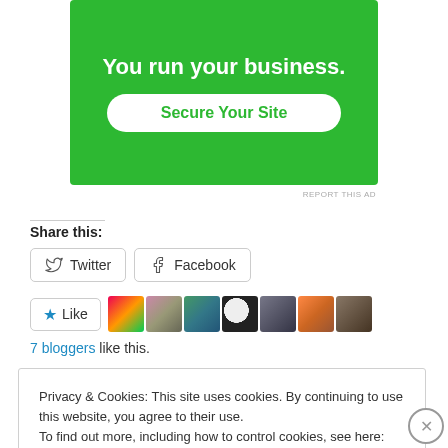[Figure (other): Green advertisement banner with white text 'You run your business.' and a white rounded button 'Secure Your Site']
REPORT THIS AD
Share this:
Twitter  Facebook
Like  [7 blogger avatars]
7 bloggers like this.
Privacy & Cookies: This site uses cookies. By continuing to use this website, you agree to their use.
To find out more, including how to control cookies, see here: Cookie Policy
Close and accept